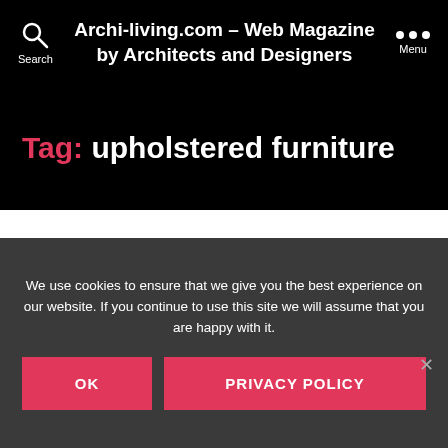Archi-living.com - Web Magazine by Architects and Designers
Tag: upholstered furniture
PRODUCTS & MATERIALS
Modu Studio Fabric...
We use cookies to ensure that we give you the best experience on our website. If you continue to use this site we will assume that you are happy with it.
OK
PRIVACY POLICY